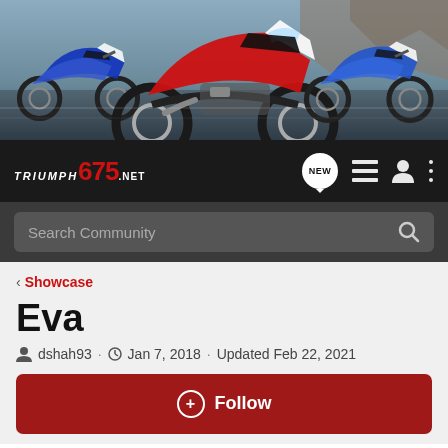[Figure (photo): Banner image showing three sport motorcycles (two blue/white and one red) on a road with a rocky background]
TRIUMPH675.NET — navigation bar with NEW chat badge, list icon, user icon, and more menu icon
Search Community
< Showcase
Eva
dshah93 · Jan 7, 2018 · Updated Feb 22, 2021
+ Follow
General information